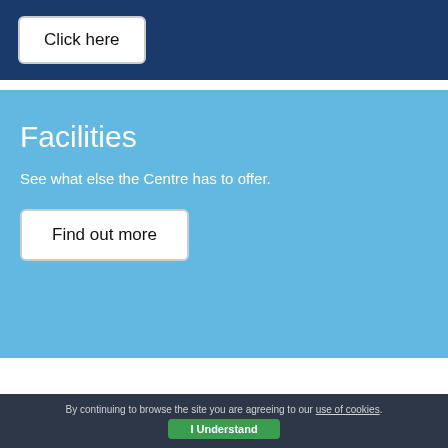[Figure (screenshot): Dark blue header bar with a white rounded button labeled 'Click here']
Facilities
See what else the Centre has to offer.
[Figure (screenshot): White rounded button labeled 'Find out more' on light blue background]
By continuing to browse the site you are agreeing to our use of cookies. I Understand